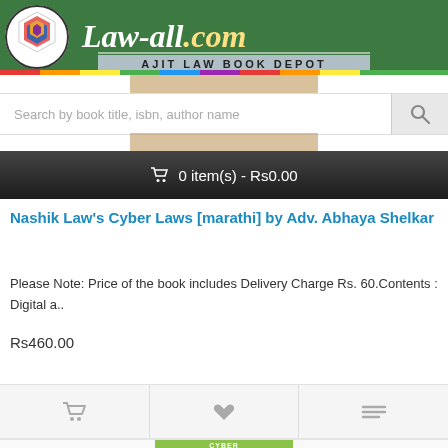[Figure (logo): Law-all.com website header with colorful logo and Ajit Law Book Depot branding on green background with rainbow color bar]
Search by book title, isbn, author name
🛒 0 item(s) - Rs0.00
Nashik Law's Cyber Laws [marathi] by Adv. Abhaya Shelkar
Please Note: Price of the book includes Delivery Charge Rs. 60.Contents :  Digital a..
Rs460.00
[Figure (photo): Partial view of Cyber Laws book cover with olive/green color]